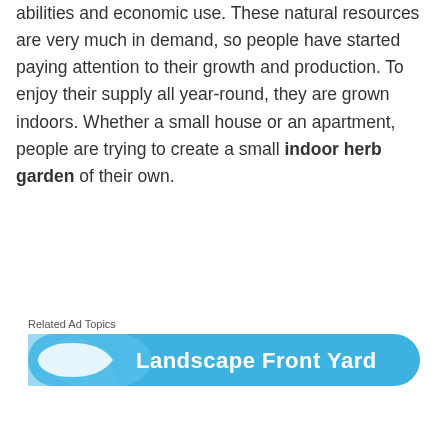abilities and economic use. These natural resources are very much in demand, so people have started paying attention to their growth and production. To enjoy their supply all year-round, they are grown indoors. Whether a small house or an apartment, people are trying to create a small indoor herb garden of their own.
Related Ad Topics
[Figure (screenshot): Blue rounded banner advertisement for 'Landscape Front Yard' with a white arc/logo shape on the left side]